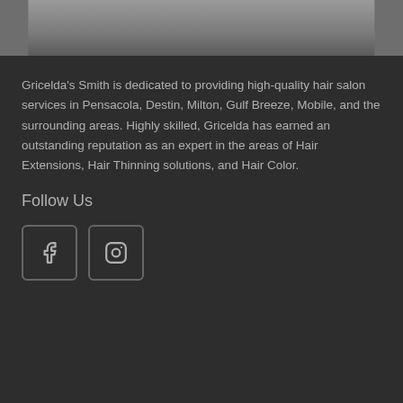[Figure (photo): Partial view of hands holding a dark hair styling tool or product, dark background]
Gricelda's Smith is dedicated to providing high-quality hair salon services in Pensacola, Destin, Milton, Gulf Breeze, Mobile, and the surrounding areas. Highly skilled, Gricelda has earned an outstanding reputation as an expert in the areas of Hair Extensions, Hair Thinning solutions, and Hair Color.
Follow Us
[Figure (illustration): Facebook icon in a rounded square box]
[Figure (illustration): Instagram icon in a rounded square box]